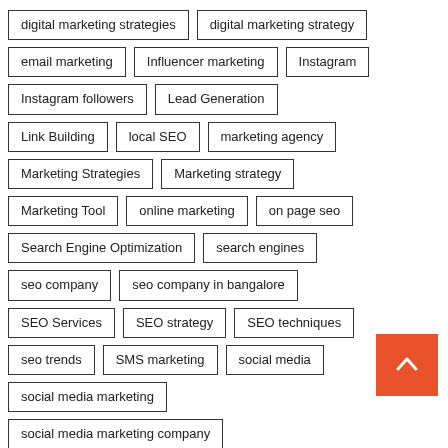digital marketing strategies
digital marketing strategy
email marketing
Influencer marketing
Instagram
Instagram followers
Lead Generation
Link Building
local SEO
marketing agency
Marketing Strategies
Marketing strategy
Marketing Tool
online marketing
on page seo
Search Engine Optimization
search engines
seo company
seo company in bangalore
SEO Services
SEO strategy
SEO techniques
seo trends
SMS marketing
social media
social media marketing
social media marketing company
social media marketing services